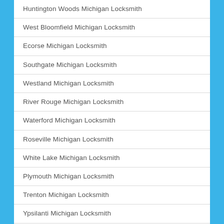Huntington Woods Michigan Locksmith
West Bloomfield Michigan Locksmith
Ecorse Michigan Locksmith
Southgate Michigan Locksmith
Westland Michigan Locksmith
River Rouge Michigan Locksmith
Waterford Michigan Locksmith
Roseville Michigan Locksmith
White Lake Michigan Locksmith
Plymouth Michigan Locksmith
Trenton Michigan Locksmith
Ypsilanti Michigan Locksmith
Pleasant Ridge Michigan Locksmith
Harrison Charter Township Michigan Locksmith
Melvindale Michigan Locksmith